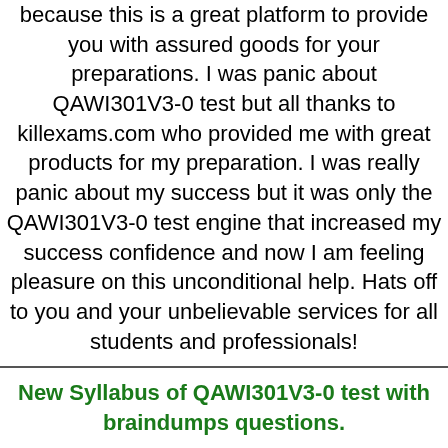because this is a great platform to provide you with assured goods for your preparations. I was panic about QAWI301V3-0 test but all thanks to killexams.com who provided me with great products for my preparation. I was really panic about my success but it was only the QAWI301V3-0 test engine that increased my success confidence and now I am feeling pleasure on this unconditional help. Hats off to you and your unbelievable services for all students and professionals!
New Syllabus of QAWI301V3-0 test with braindumps questions.
I immediately go to killexams.com and seek the specified certification test, purchase, and